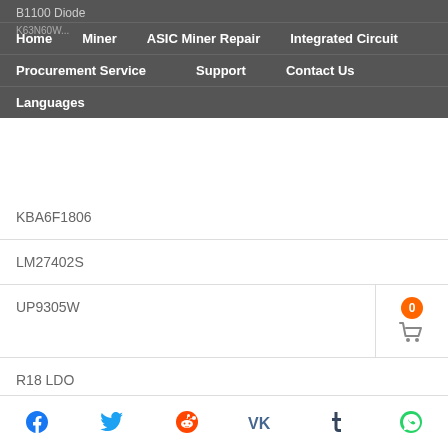B1100 Diode
Home
Miner
ASIC Miner Repair
Integrated Circuit
Procurement Service
Support
Contact Us
Languages
KBA6F1806
LM27402S
UP9305W
R18 LDO
NCP1399AF SOP14
MP2019 SOP8
MRH3603 QFN8 MOS